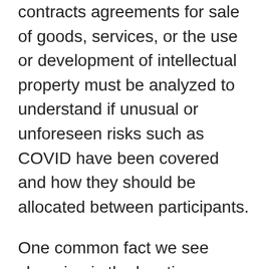contracts agreements for sale of goods, services, or the use or development of intellectual property must be analyzed to understand if unusual or unforeseen risks such as COVID have been covered and how they should be allocated between participants.
One common fact we see changing is the location performing intercompany services. Government mandated lockdowns and other related factors are forcing these changes.  As a result, the modification of intercompany services contracts must be performed immediately to ensure that documentation and compliance are maintained.  This is but